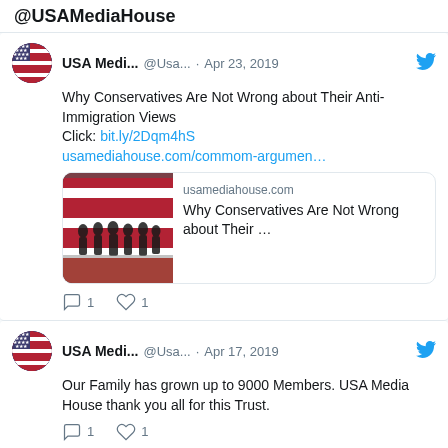@USAMediaHouse
USA Medi... @Usa... · Apr 23, 2019
Why Conservatives Are Not Wrong about Their Anti-Immigration Views
Click: bit.ly/2Dqm4hS
usamediahouse.com/commom-argumen…
[Figure (screenshot): Link preview card showing usamediahouse.com with image of silhouettes against American flag and title 'Why Conservatives Are Not Wrong about Their ...']
Reply 1  Like 1
USA Medi... @Usa... · Apr 17, 2019
Our Family has grown up to 9000 Members. USA Media House thank you all for this Trust.
Reply 1  Like 1
USA Medi... @Usa... · Mar 27, 2019